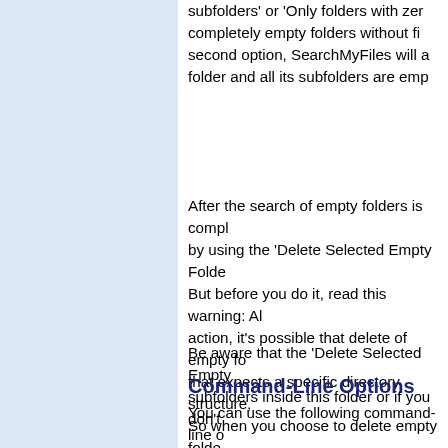subfolders' or 'Only folders with zer... completely empty folders without fi... second option, SearchMyFiles will a... folder and all its subfolders are emp...
After the search of empty folders is compl... by using the 'Delete Selected Empty Folde... But before you do it, read this warning: Al... action, it's possible that delete of empty fo... that expects a specific directory structure, ... So when you choose to delete empty folde... folder you want to delete and ensure it's ok... empty directories list to a file, so if there is... be able to easily create again the deleted e...
Be aware that the 'Delete Selected Empty ... subfolders inside this folder or if you don't...
Command-Line Options
You can use the following command-line o... displaying any user interface and save the... the only way to stop the search is by termi... (SearchMyFiles.exe).